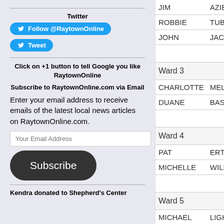Twitter
Follow @RaytownOnline
Tweet
Click on +1 button to tell Google you like RaytownOnline
Subscribe to RaytownOnline.com via Email
Enter your email address to receive emails of the latest local news articles on RaytownOnline.com.
Your Email Address
Subscribe
Kendra donated to Shepherd's Center
| First | Last |
| --- | --- |
| JIM | AZIE... |
| ROBBIE | TUBE... |
| JOHN | JACO... |
| Ward 3 |  |
| CHARLOTTE | MELS... |
| DUANE | BASH... |
| Ward 4 |  |
| PAT | ERTZ... |
| MICHELLE | WILL... |
| Ward 5 |  |
| MICHAEL | LIGH... |